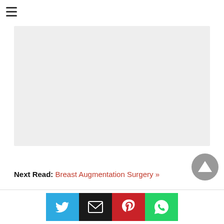[Figure (logo): Search Home Remedy logo in green text with a leaf icon]
[Figure (other): Gray advertisement banner placeholder]
Next Read: Breast Augmentation Surgery »
[Figure (other): Scroll to top button - dark gray circle with upward triangle]
[Figure (other): Social share bar with Twitter, Email, Pinterest, and WhatsApp buttons]